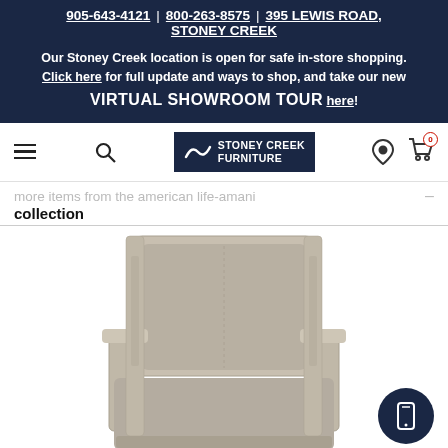905-643-4121 | 800-263-8575 | 395 LEWIS ROAD, STONEY CREEK
Our Stoney Creek location is open for safe in-store shopping. Click here for full update and ways to shop, and take our new VIRTUAL SHOWROOM TOUR here!
[Figure (logo): Stoney Creek Furniture logo with navigation bar including hamburger menu, search icon, location pin, and shopping cart]
more items from the american life-amani collection
[Figure (photo): A light beige/gray upholstered armchair with wooden frame in a modern style, viewed from slightly above front angle]